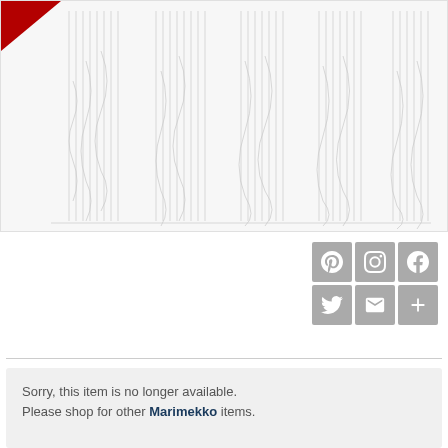[Figure (illustration): Product image area showing a decorative pattern with vertical circuit-board-like lines in light gray on white background, with a small red triangular corner element at top left. The overall design resembles a Marimekko fabric or wallpaper pattern.]
[Figure (infographic): Social media sharing icons in a 3x2 grid layout on gray square buttons: Pinterest, Instagram, Facebook (top row); Twitter, Email/envelope, Plus/more (bottom row). All icons are white on gray background.]
Sorry, this item is no longer available. Please shop for other Marimekko items.